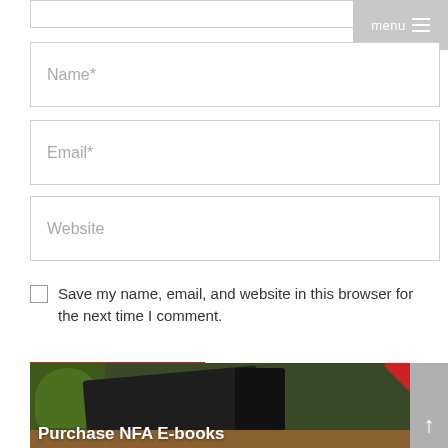[Figure (screenshot): Partial input box at top of page]
[Figure (screenshot): Menu button with hamburger icon in top right corner, gray background, text 'menu']
Name*
Email*
Website
Save my name, email, and website in this browser for the next time I comment.
Post comment
[Figure (photo): Banner image showing a tablet, phone, and plant on a wooden table with red SALE ribbon in top right corner and text 'Purchase NFA E-books']